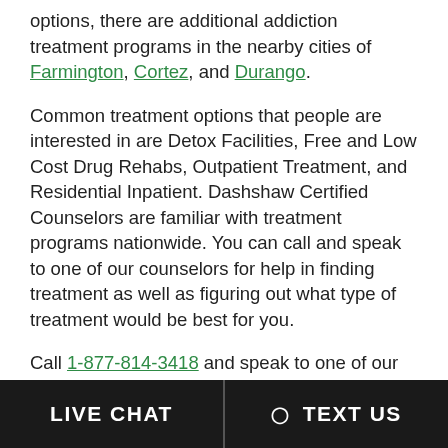options, there are additional addiction treatment programs in the nearby cities of Farmington, Cortez, and Durango.
Common treatment options that people are interested in are Detox Facilities, Free and Low Cost Drug Rehabs, Outpatient Treatment, and Residential Inpatient. Dashshaw Certified Counselors are familiar with treatment programs nationwide. You can call and speak to one of our counselors for help in finding treatment as well as figuring out what type of treatment would be best for you.
Call 1-877-814-3418 and speak to one of our counselors for immediate assistance.
LIVE CHAT   TEXT US